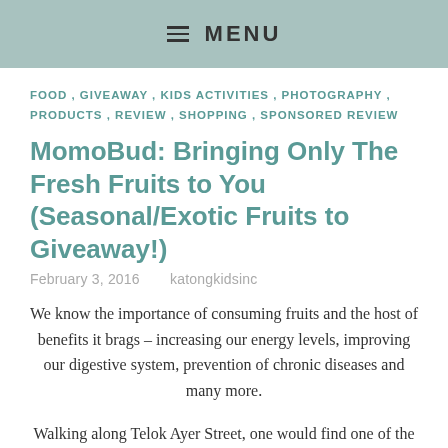≡ MENU
FOOD , GIVEAWAY , KIDS ACTIVITIES , PHOTOGRAPHY , PRODUCTS , REVIEW , SHOPPING , SPONSORED REVIEW
MomoBud: Bringing Only The Fresh Fruits to You (Seasonal/Exotic Fruits to Giveaway!)
February 3, 2016   katongkidsinc
We know the importance of consuming fruits and the host of benefits it brags – increasing our energy levels, improving our digestive system, prevention of chronic diseases and many more.
Walking along Telok Ayer Street, one would find one of the probably best-kept treasures in this CBD area – "MomoBud", a fresh and high-quality